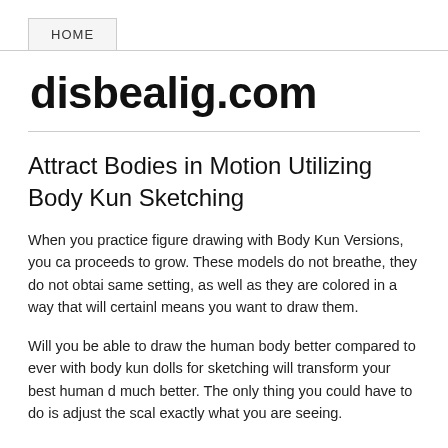HOME
disbealig.com
Attract Bodies in Motion Utilizing Body Kun Sketching
When you practice figure drawing with Body Kun Versions, you can proceeds to grow. These models do not breathe, they do not obtain same setting, as well as they are colored in a way that will certainl means you want to draw them.
Will you be able to draw the human body better compared to ever with body kun dolls for sketching will transform your best human d much better. The only thing you could have to do is adjust the scal exactly what you are seeing.